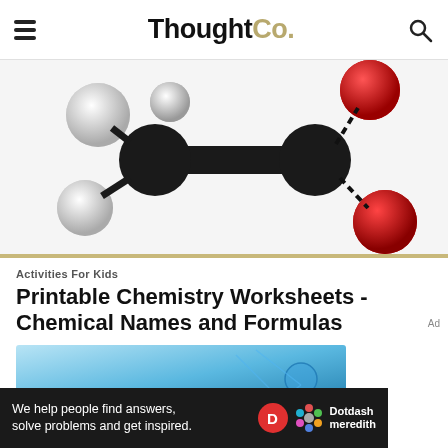ThoughtCo.
[Figure (photo): 3D molecular model showing carbon atoms (black spheres) bonded to hydrogen atoms (white spheres) and oxygen atoms (red spheres), partial view cropped]
Activities For Kids
Printable Chemistry Worksheets - Chemical Names and Formulas
[Figure (photo): Blue chemistry/molecular background image, partially visible]
We help people find answers, solve problems and get inspired.
[Figure (logo): Dotdash Meredith logo with red D circle and colorful flower icon]